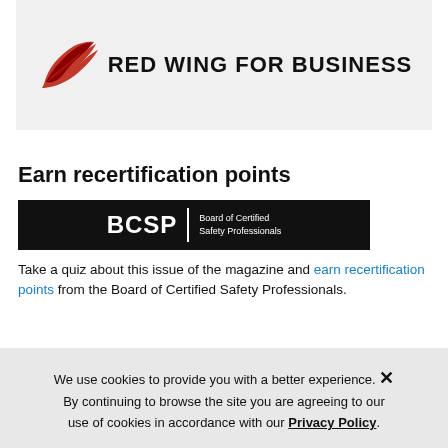[Figure (logo): Red Wing for Business logo: red wing/feather icon on left, bold text 'RED WING FOR BUSINESS' on right, on light gray background]
Earn recertification points
[Figure (logo): BCSP Board of Certified Safety Professionals logo on black background]
Take a quiz about this issue of the magazine and earn recertification points from the Board of Certified Safety Professionals.
We use cookies to provide you with a better experience. By continuing to browse the site you are agreeing to our use of cookies in accordance with our Privacy Policy.